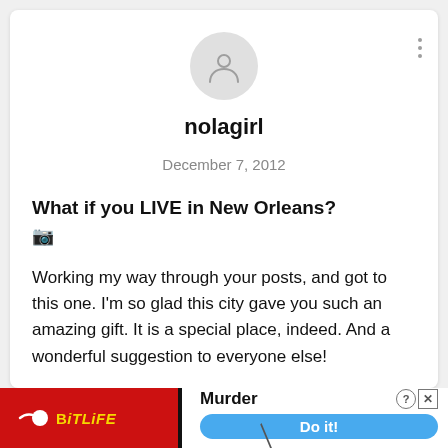[Figure (illustration): Generic user avatar circle with person silhouette icon, grey background]
nolagirl
December 7, 2012
What if you LIVE in New Orleans?
Working my way through your posts, and got to this one. I'm so glad this city gave you such an amazing gift. It is a special place, indeed. And a wonderful suggestion to everyone else!
[Figure (screenshot): BitLife advertisement banner at bottom: red background with BitLife logo and 'Murder Do it!' call to action button]